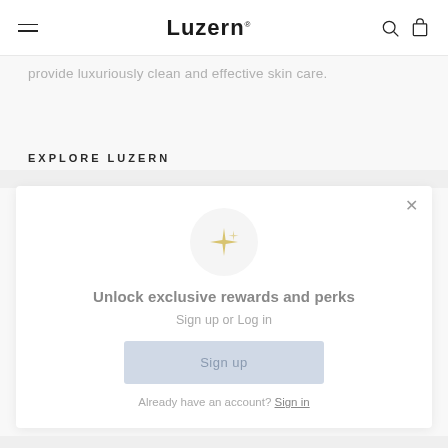Luzern
provide luxuriously clean and effective skin care.
EXPLORE LUZERN
[Figure (screenshot): Loyalty rewards modal popup with sparkle icon, heading 'Unlock exclusive rewards and perks', subtext 'Sign up or Log in', a Sign up button, and 'Already have an account? Sign in' link. Close X button in top right.]